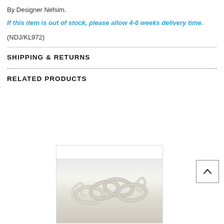By Designer Nefsim.
If this item is out of stock, please allow 4-6 weeks delivery time.
(NDJ/KL972)
SHIPPING & RETURNS
RELATED PRODUCTS
[Figure (photo): Silver chain jewelry product photo on light grey background]